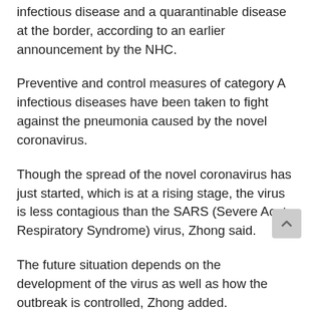infectious disease and a quarantinable disease at the border, according to an earlier announcement by the NHC.
Preventive and control measures of category A infectious diseases have been taken to fight against the pneumonia caused by the novel coronavirus.
Though the spread of the novel coronavirus has just started, which is at a rising stage, the virus is less contagious than the SARS (Severe Acute Respiratory Syndrome) virus, Zhong said.
The future situation depends on the development of the virus as well as how the outbreak is controlled, Zhong added.
A total of 291 confirmed cases of new coronavirus-related pneumonia and 54 suspected cases have been reported in China by the end of Monday.